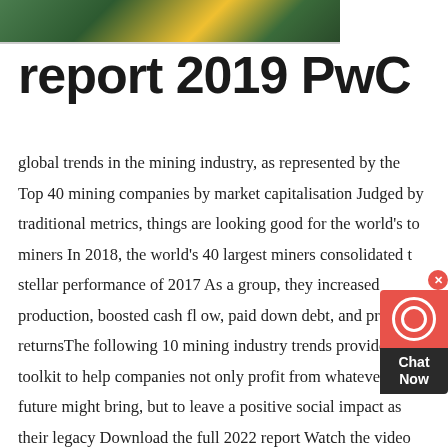[Figure (photo): Partial image strip showing mining-related imagery with green and yellow colors]
report 2019 PwC
global trends in the mining industry, as represented by the Top 40 mining companies by market capitalisation Judged by traditional metrics, things are looking good for the world's top miners In 2018, the world's 40 largest miners consolidated the stellar performance of 2017 As a group, they increased production, boosted cash fl ow, paid down debt, and provided returnsThe following 10 mining industry trends provide a toolkit to help companies not only profit from whatever the future might bring, but to leave a positive social impact as their legacy Download the full 2022 report Watch the video Access the audiobook Read the 2022 press release Access the 2021 report Watch the webinar video (9 Feb) Register for the webinar on 15 MarTracking The Trends 2022 | Deloitte | Energy,